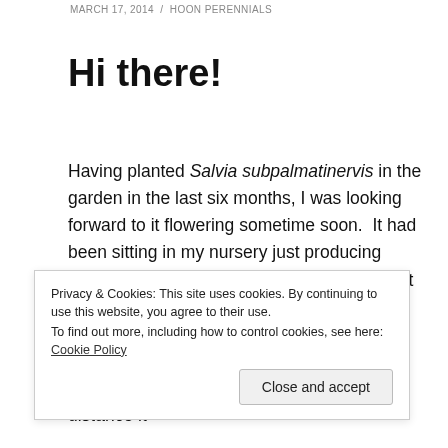MARCH 17, 2014  /  HOON PERENNIALS
Hi there!
Having planted Salvia subpalmatinervis in the garden in the last six months, I was looking forward to it flowering sometime soon.  It had been sitting in my nursery just producing leaves and I thought it was past time to get it into the ground.  Well!  A week or so ago it started to put up a flowering stem.  Yes!  I'm thinking, here we go!!  Then it flowered – my heart sank.  From a distance it
Privacy & Cookies: This site uses cookies. By continuing to use this website, you agree to their use.
To find out more, including how to control cookies, see here: Cookie Policy
Close and accept